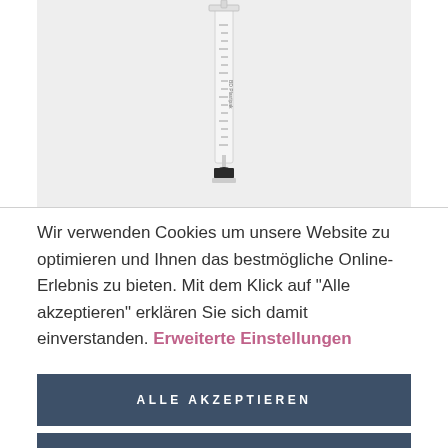[Figure (photo): A medical syringe (BD Plastipak brand) standing upright against a white background, showing measurement markings on the barrel and a black rubber plunger tip at the bottom.]
Wir verwenden Cookies um unsere Website zu optimieren und Ihnen das bestmögliche Online-Erlebnis zu bieten. Mit dem Klick auf "Alle akzeptieren" erklären Sie sich damit einverstanden. Erweiterte Einstellungen
ALLE AKZEPTIEREN
ALLE ABLEHNEN